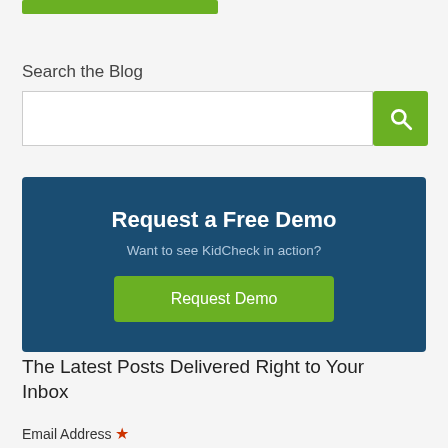[Figure (other): Green button/bar at top]
Search the Blog
[Figure (other): Search input field with green search button (magnifying glass icon)]
[Figure (other): Dark blue promotional box: Request a Free Demo — Want to see KidCheck in action? — Request Demo button]
The Latest Posts Delivered Right to Your Inbox
Email Address *